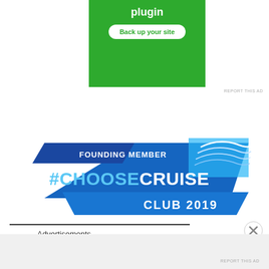[Figure (screenshot): Green advertisement banner with white bold text 'plugin' and a white rounded button labeled 'Back up your site' in green text]
REPORT THIS AD
[Figure (logo): Founding Member #CHOOSECRUISE Club 2019 logo with blue diamond shape and cruise ship wave graphic]
Advertisements
REPORT THIS AD